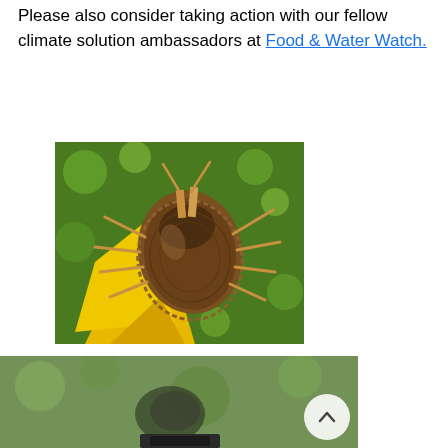Please also consider taking action with our fellow climate solution ambassadors at Food & Water Watch.
[Figure (photo): Close-up macro photograph of a tick (likely American dog tick or similar species) clinging to a yellow flower petal, with a blurred green background.]
[Figure (photo): Partially visible second image with a blurred green background, possibly showing animals or outdoor scenery, with a white circular scroll-up button in the lower right.]